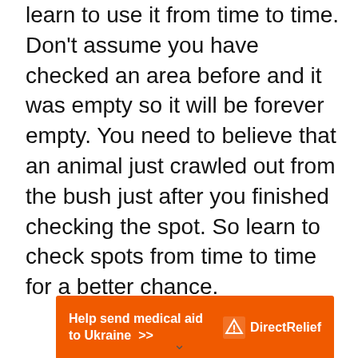learn to use it from time to time. Don't assume you have checked an area before and it was empty so it will be forever empty. You need to believe that an animal just crawled out from the bush just after you finished checking the spot. So learn to check spots from time to time for a better chance.
[Figure (infographic): Orange advertisement banner reading 'Help send medical aid to Ukraine >>' on the left and 'Direct Relief' logo with icon on the right.]